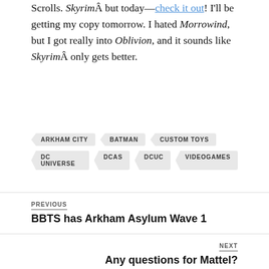Scrolls. SkyrimÂ but today—check it out! I'll be getting my copy tomorrow. I hated Morrowind, but I got really into Oblivion, and it sounds like SkyrimÂ only gets better.
ARKHAM CITY
BATMAN
CUSTOM TOYS
DC UNIVERSE
DCAS
DCUC
VIDEOGAMES
PREVIOUS
BBTS has Arkham Asylum Wave 1
NEXT
Any questions for Mattel?